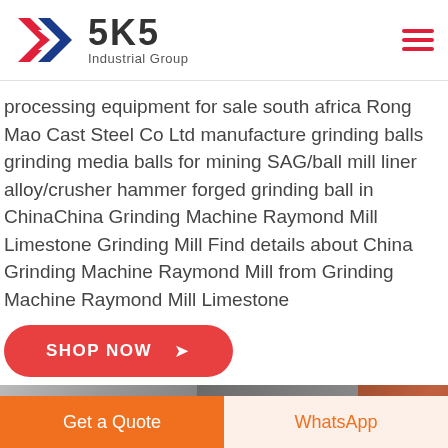[Figure (logo): SKS Industrial Group logo: a red and blue K chevron mark on left, bold text '5K5' and 'Industrial Group' on right]
processing equipment for sale south africa Rong Mao Cast Steel Co Ltd manufacture grinding balls grinding media balls for mining SAG/ball mill liner alloy/crusher hammer forged grinding ball in ChinaChina Grinding Machine Raymond Mill Limestone Grinding Mill Find details about China Grinding Machine Raymond Mill from Grinding Machine Raymond Mill Limestone
SHOP NOW →
[Figure (photo): Partial photo strip showing industrial machinery and equipment]
Get a Quote
WhatsApp